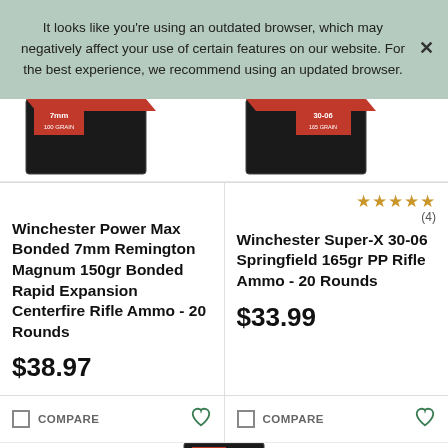It looks like you're using an outdated browser, which may negatively affect your use of certain features on our website. For the best experience, we recommend using an updated browser.
[Figure (photo): Partial product image of Winchester 7mm ammunition box on the left and 30-06 ammunition box on the right]
★★★★★ (4)
Winchester Power Max Bonded 7mm Remington Magnum 150gr Bonded Rapid Expansion Centerfire Rifle Ammo - 20 Rounds
$38.97
Winchester Super-X 30-06 Springfield 165gr PP Rifle Ammo - 20 Rounds
$33.99
COMPARE
COMPARE
[Figure (photo): Partial bottom product image strip]